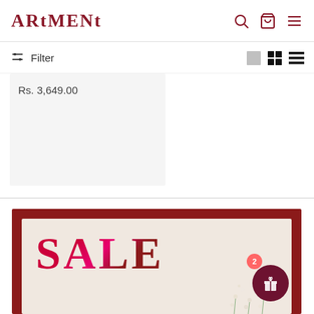ARtMENt
Filter
Rs. 3,649.00
[Figure (photo): Sale banner with dark red border frame, light beige background, large 'SALE' text in pink-to-red gradient, white baby's breath flowers at bottom right, gift icon button with badge showing '2']